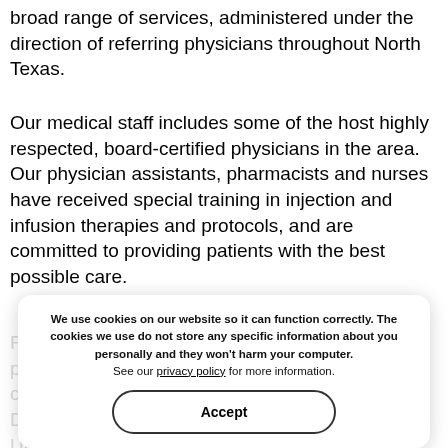broad range of services, administered under the direction of referring physicians throughout North Texas.
Our medical staff includes some of the host highly respected, board-certified physicians in the area. Our physician assistants, pharmacists and nurses have received special training in injection and infusion therapies and protocols, and are committed to providing patients with the best possible care.
For the convenience of our patients and referring physicians, North Texas Infusion Centers has two convenient locations in Dallas. Our Downtown Dallas Clinic, Worth Street Tower on the Baylor University Medical Center campus. Our North Dallas Clinic, Carroll Clinic Building on North Central Expressway. Both locations offer convenient parking and state-of-the-art injection and infusion equipment.
We use cookies on our website so it can function correctly. The cookies we use do not store any specific information about you personally and they won't harm your computer.
See our privacy policy for more information.
Accept